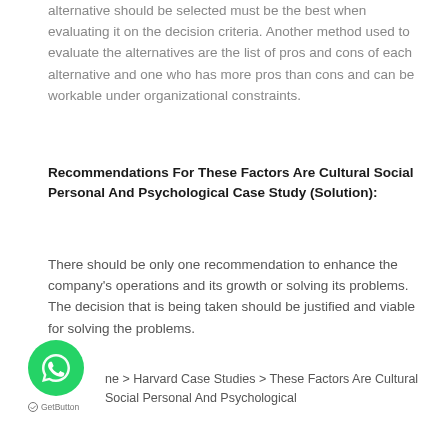alternative should be selected must be the best when evaluating it on the decision criteria. Another method used to evaluate the alternatives are the list of pros and cons of each alternative and one who has more pros than cons and can be workable under organizational constraints.
Recommendations For These Factors Are Cultural Social Personal And Psychological Case Study (Solution):
There should be only one recommendation to enhance the company's operations and its growth or solving its problems. The decision that is being taken should be justified and viable for solving the problems.
ne > Harvard Case Studies > These Factors Are Cultural Social Personal And Psychological
[Figure (logo): WhatsApp chat button (green circular icon with speech bubble)]
GetButton